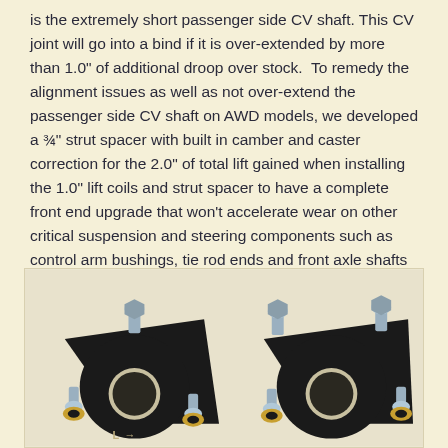is the extremely short passenger side CV shaft. This CV joint will go into a bind if it is over-extended by more than 1.0" of additional droop over stock. To remedy the alignment issues as well as not over-extend the passenger side CV shaft on AWD models, we developed a ¾" strut spacer with built in camber and caster correction for the 2.0" of total lift gained when installing the 1.0" lift coils and strut spacer to have a complete front end upgrade that won't accelerate wear on other critical suspension and steering components such as control arm bushings, tie rod ends and front axle shafts on AWD models. Front sway bar link extensions are included to maintain proper sway bar position.
[Figure (photo): Two black triangular strut spacers with bolts and gold/brass washers, labeled L and R, photographed against a light background.]